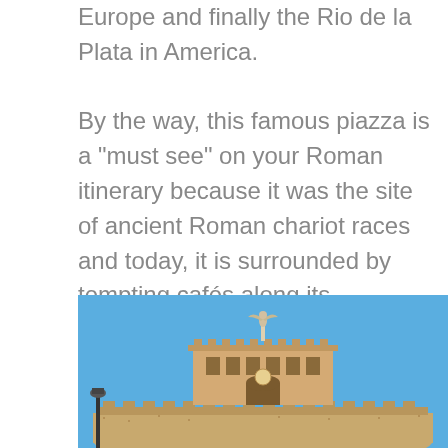Europe and finally the Rio de la Plata in America. By the way, this famous piazza is a "must see" on your Roman itinerary because it was the site of ancient Roman chariot races and today, it is surrounded by tempting cafés along its perimeter. Don't be fooled into having a meal here though because these places offer mediocre food at very high prices.  However, I do recommend that you grab an espresso and people watch for a spell.
[Figure (photo): Photograph of Castel Sant'Angelo in Rome, showing the circular stone fortress with a sculptural angel with wings on top, under a clear blue sky. A street lamp is visible at the lower left.]